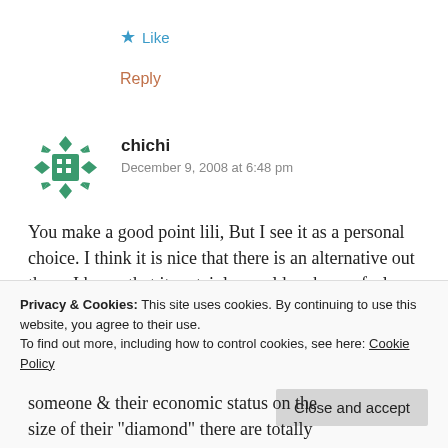★ Like
Reply
chichi
December 9, 2008 at 6:48 pm
You make a good point lili, But I see it as a personal choice. I think it is nice that there is an alternative out there. I know that it certainly would make me feel better if it was a simulant rather than if
Privacy & Cookies: This site uses cookies. By continuing to use this website, you agree to their use.
To find out more, including how to control cookies, see here: Cookie Policy
Close and accept
someone & their economic status on the size of their "diamond" there are totally